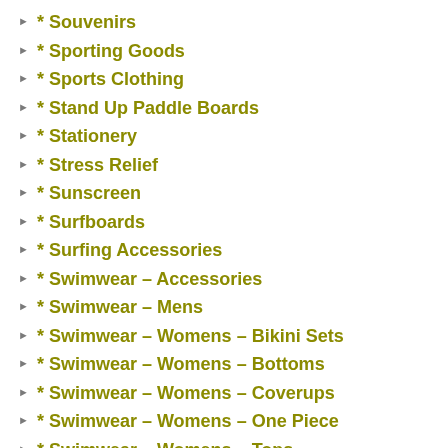* Souvenirs
* Sporting Goods
* Sports Clothing
* Stand Up Paddle Boards
* Stationery
* Stress Relief
* Sunscreen
* Surfboards
* Surfing Accessories
* Swimwear – Accessories
* Swimwear – Mens
* Swimwear – Womens – Bikini Sets
* Swimwear – Womens – Bottoms
* Swimwear – Womens – Coverups
* Swimwear – Womens – One Piece
* Swimwear – Womens – Tops
* Swimwear – Womens – Mastectomy